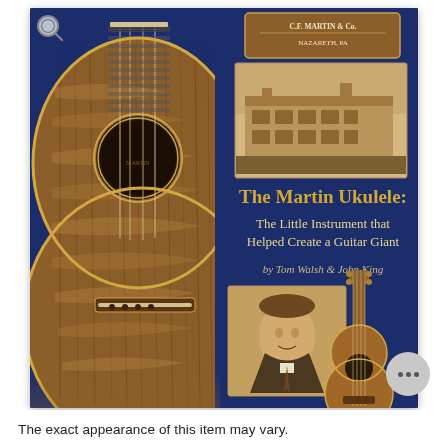[Figure (photo): Book cover of 'The Martin Ukulele: The Little Instrument that Helped Create a Guitar Giant' by Tom Walsh & John King. Dark navy blue background with a large close-up of a koa ukulele body on the left side, a sepia photo of a building (C.F. Martin factory in Nazareth, PA) upper right, a sepia portrait photo of a man in suit lower right, a small ukulele image lower right corner, a Martin logo/label upper right corner, and gold text for the title and subtitle.]
The exact appearance of this item may vary.